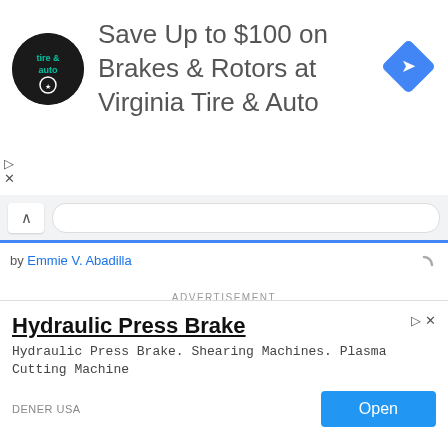[Figure (screenshot): Top advertisement banner for Virginia Tire & Auto with logo, headline text 'Save Up to $100 on Brakes & Rotors at Virginia Tire & Auto', and blue diamond navigation icon]
by Emmie V. Abadilla
ADVERTISEMENT
[Figure (screenshot): Game advertisement banner with 'Become a master of shooter!' text and orange 'DOWNLOAD NOW' button on golden/brown background]
Construction of the first 5-kilometer section of the P23 illion NLEX Connector between Caloocan and España
[Figure (screenshot): Bottom advertisement for Hydraulic Press Brake by DENER USA with 'Open' button. Text: 'Hydraulic Press Brake. Shearing Machines. Plasma Cutting Machine']